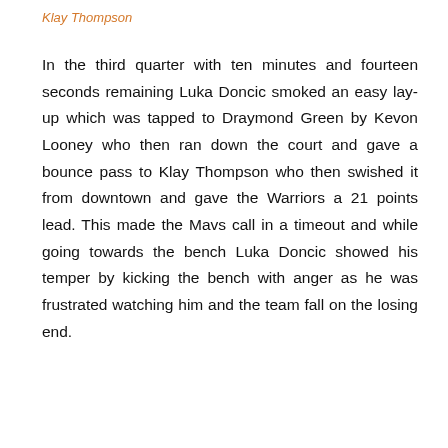Klay Thompson
In the third quarter with ten minutes and fourteen seconds remaining Luka Doncic smoked an easy lay-up which was tapped to Draymond Green by Kevon Looney who then ran down the court and gave a bounce pass to Klay Thompson who then swished it from downtown and gave the Warriors a 21 points lead. This made the Mavs call in a timeout and while going towards the bench Luka Doncic showed his temper by kicking the bench with anger as he was frustrated watching him and the team fall on the losing end.